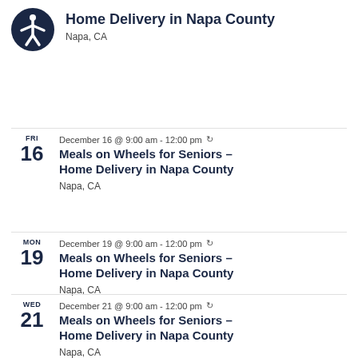[Figure (logo): Accessibility icon: white person with arms outstretched in a circle, on dark navy blue background]
Home Delivery in Napa County
Napa, CA
December 16 @ 9:00 am - 12:00 pm ↺
Meals on Wheels for Seniors – Home Delivery in Napa County
Napa, CA
December 19 @ 9:00 am - 12:00 pm ↺
Meals on Wheels for Seniors – Home Delivery in Napa County
Napa, CA
December 21 @ 9:00 am - 12:00 pm ↺
Meals on Wheels for Seniors – Home Delivery in Napa County
Napa, CA